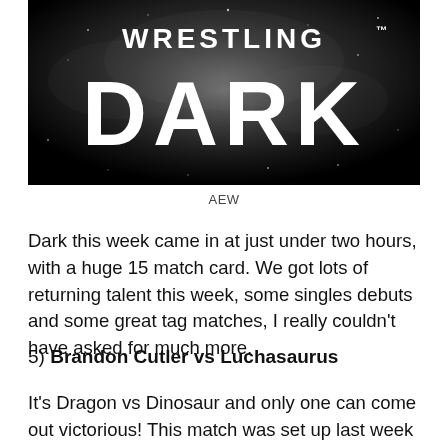[Figure (photo): Black and white banner image with the text 'WRESTLING DARK' in large white bold letters over a dark starry/smoke background. The word 'WRESTLING' appears at the top and 'DARK' in very large letters below it.]
AEW
Dark this week came in at just under two hours, with a huge 15 match card. We got lots of returning talent this week, some singles debuts and some great tag matches, I really couldn’t have asked for much more.
5) Brandon Cutler vs Luchasaurus
It’s Dragon vs Dinosaur and only one can come out victorious! This match was set up last week on Dark and was a heck of a lot of fun. Kinda gutted for